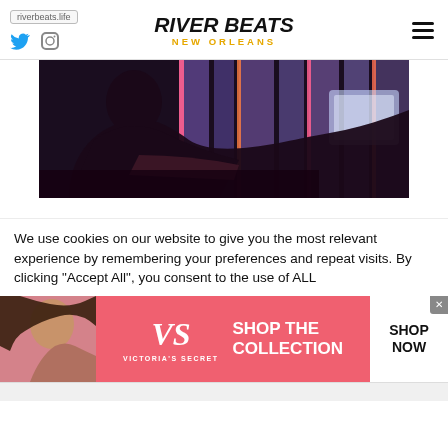riverbeats.life | RIVER BEATS NEW ORLEANS
[Figure (photo): DJ working at a laptop/mixing board with colorful neon lights in the background, dark atmospheric lighting with purple and pink tones]
We use cookies on our website to give you the most relevant experience by remembering your preferences and repeat visits. By clicking “Accept All”, you consent to the use of ALL
[Figure (infographic): Victoria's Secret advertisement banner with model, VS logo, 'SHOP THE COLLECTION' text, and 'SHOP NOW' button]